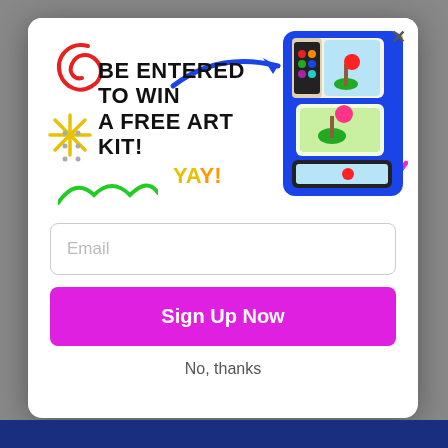[Figure (illustration): Modal popup with colorful doodles, art kit photo, blue arrow, headline text, email input field, sign up button, and no thanks link]
BE ENTERED TO WIN A FREE ART KIT!
YAY!
Email
Sign Up Now
No, thanks